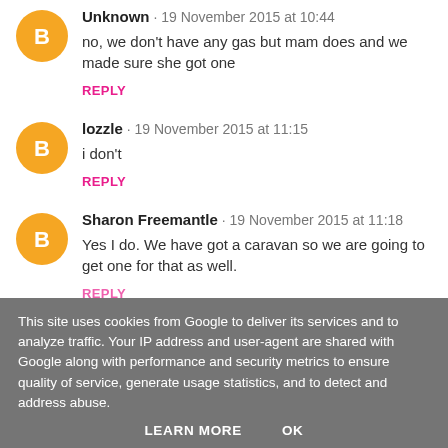Unknown · 19 November 2015 at 10:44
no, we don't have any gas but mam does and we made sure she got one
REPLY
lozzle · 19 November 2015 at 11:15
i don't
REPLY
Sharon Freemantle · 19 November 2015 at 11:18
Yes I do. We have got a caravan so we are going to get one for that as well.
REPLY
This site uses cookies from Google to deliver its services and to analyze traffic. Your IP address and user-agent are shared with Google along with performance and security metrics to ensure quality of service, generate usage statistics, and to detect and address abuse.
LEARN MORE   OK